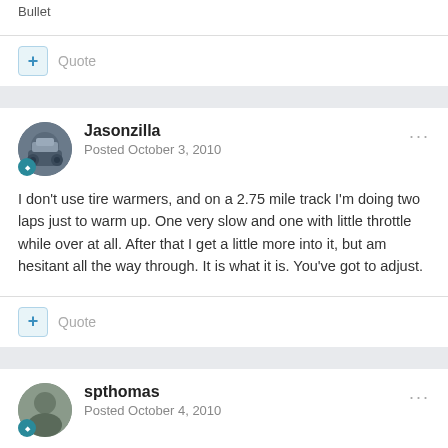Bullet
+ Quote
Jasonzilla
Posted October 3, 2010
I don't use tire warmers, and on a 2.75 mile track I'm doing two laps just to warm up. One very slow and one with little throttle while over at all. After that I get a little more into it, but am hesitant all the way through. It is what it is. You've got to adjust.
+ Quote
spthomas
Posted October 4, 2010